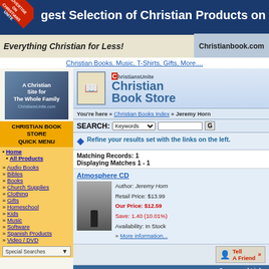Largest Selection of Christian Products on the Web
Everything Christian for Less! Christianbook.com
Christian Books, Music, T-Shirts, Gifts, More....
[Figure (logo): ChristiansUnite.com site logo - A Christian Site for The Whole Family]
CHRISTIAN BOOK STORE QUICK MENU
Home
All Products
Audio Books
Bibles
Books
Church Supplies
Clothing
Gifts
Homeschool
Kids
Music
Software
Spanish Products
Video / DVD
[Figure (logo): ChristiansUnite Christian Book Store logo with animated character reading book]
You're here » Christian Books Index » Jeremy Horn
SEARCH: Keywords [dropdown] [text input] [Go button]
Refine your results set with the links on the left.
Matching Records: 1
Displaying Matches 1 - 1
Atmosphere CD
Author: Jeremy Horn
Retail Price: $13.99
Our Price: $12.59
Save: 1.40 (10.01%)
Availability: In Stock
» More information...
Sponsored Links
Looking for a Bible? Find the...